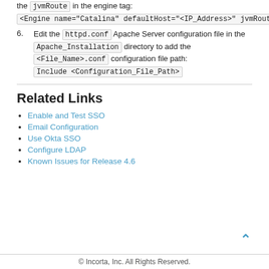the jvmRoute in the engine tag: <Engine name="Catalina" defaultHost="<IP_Address>" jvmRoute="Node_Name">.
6. Edit the httpd.conf Apache Server configuration file in the Apache_Installation directory to add the <File_Name>.conf configuration file path: Include <Configuration_File_Path>
Related Links
Enable and Test SSO
Email Configuration
Use Okta SSO
Configure LDAP
Known Issues for Release 4.6
© Incorta, Inc. All Rights Reserved.